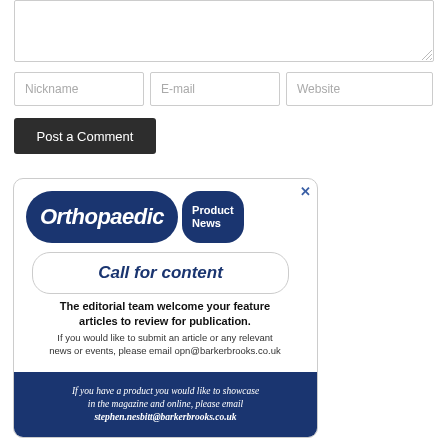[Figure (screenshot): Text area input box for comment, with resize handle at bottom right]
Nickname
E-mail
Website
Post a Comment
[Figure (illustration): Orthopaedic Product News advertisement. Logo with 'Orthopaedic Product News' on dark blue pill. 'Call for content' in italic bold inside rounded box. Text: 'The editorial team welcome your feature articles to review for publication. If you would like to submit an article or any relevant news or events, please email opn@barkerbrooks.co.uk'. Blue footer: 'If you have a product you would like to showcase in the magazine and online, please email stephen.nesbitt@barkerbrooks.co.uk']